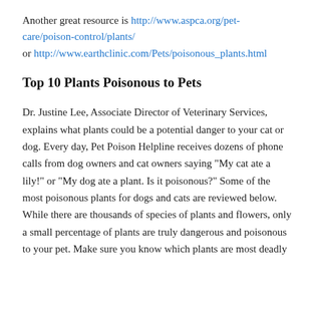Another great resource is http://www.aspca.org/pet-care/poison-control/plants/ or http://www.earthclinic.com/Pets/poisonous_plants.html
Top 10 Plants Poisonous to Pets
Dr. Justine Lee, Associate Director of Veterinary Services, explains what plants could be a potential danger to your cat or dog. Every day, Pet Poison Helpline receives dozens of phone calls from dog owners and cat owners saying "My cat ate a lily!" or "My dog ate a plant. Is it poisonous?" Some of the most poisonous plants for dogs and cats are reviewed below. While there are thousands of species of plants and flowers, only a small percentage of plants are truly dangerous and poisonous to your pet. Make sure you know which plants are most deadly